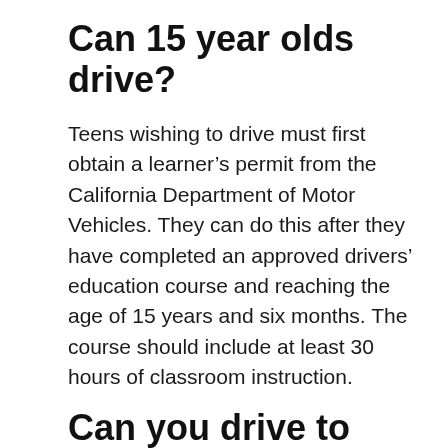Can 15 year olds drive?
Teens wishing to drive must first obtain a learner’s permit from the California Department of Motor Vehicles. They can do this after they have completed an approved drivers’ education course and reaching the age of 15 years and six months. The course should include at least 30 hours of classroom instruction.
Can you drive to Mexico during Covid?
Mexico is open to travelers. There is no need to provide a negative PCR test or quarantine on arrival, though most resorts ask guests to fill out health questionnaires.